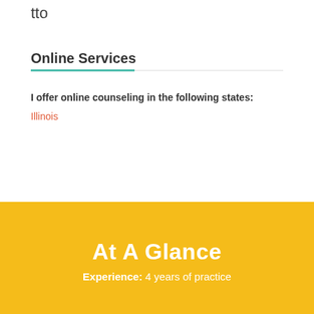tto
Online Services
I offer online counseling in the following states:
Illinois
At A Glance
Experience: 4 years of practice